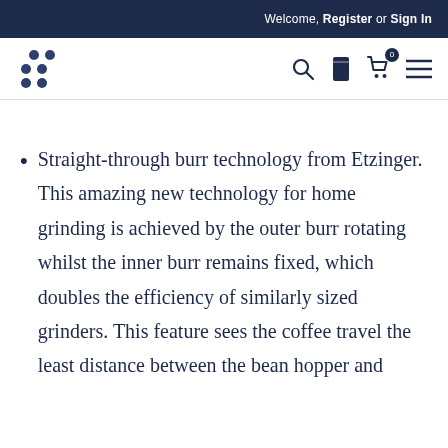Welcome, Register or Sign In
[Figure (logo): Brand logo made of dot pattern (6 dots arranged in a triangular/circular cluster)]
[Figure (other): Navigation icons: search magnifying glass, bag/canister icon, shopping cart with badge showing 0, hamburger menu]
Straight-through burr technology from Etzinger. This amazing new technology for home grinding is achieved by the outer burr rotating whilst the inner burr remains fixed, which doubles the efficiency of similarly sized grinders. This feature sees the coffee travel the least distance between the bean hopper and